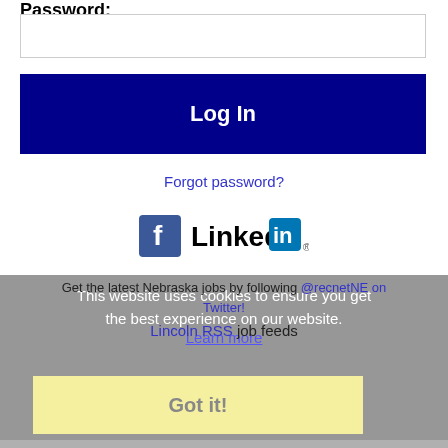Password:
[Figure (screenshot): Password input field (empty text box)]
Log In
Forgot password?
[Figure (logo): Facebook and LinkedIn social media icons/logos]
This website uses cookies to ensure you get the best experience on our website.
Learn more
Get the latest Nebraska jobs by following @recnetNE on Twitter!
Lincoln RSS job feeds
Got it!